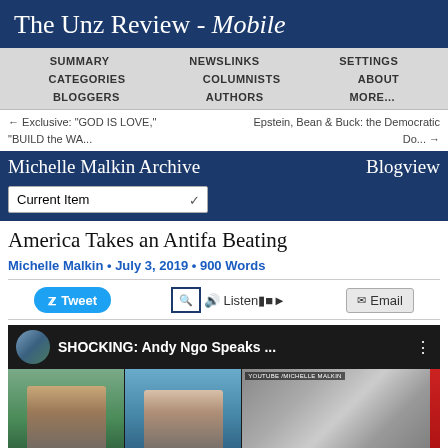The Unz Review - Mobile
SUMMARY  NEWSLINKS  SETTINGS  CATEGORIES  COLUMNISTS  ABOUT  BLOGGERS  AUTHORS  MORE...
← Exclusive: "GOD IS LOVE," "BUILD the WA...   Epstein, Bean & Buck: the Democratic Do... →
Michelle Malkin Archive  Blogview
Current Item
America Takes an Antifa Beating
Michelle Malkin • July 3, 2019 • 900 Words
Tweet  Listen▐■►  Email
[Figure (screenshot): YouTube video thumbnail showing 'SHOCKING: Andy Ngo Speaks ...' with channel avatar, thumbnails of two TV personalities (Tucker Carlson-like figure and Andy Ngo) and a protest/outdoor scene on the right with a red accent bar]